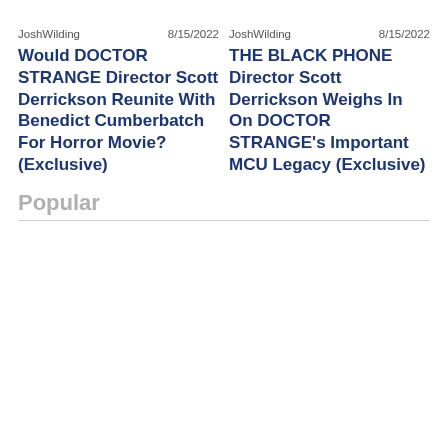JoshWilding   8/15/2022
Would DOCTOR STRANGE Director Scott Derrickson Reunite With Benedict Cumberbatch For Horror Movie? (Exclusive)
JoshWilding   8/15/2022
THE BLACK PHONE Director Scott Derrickson Weighs In On DOCTOR STRANGE's Important MCU Legacy (Exclusive)
Popular